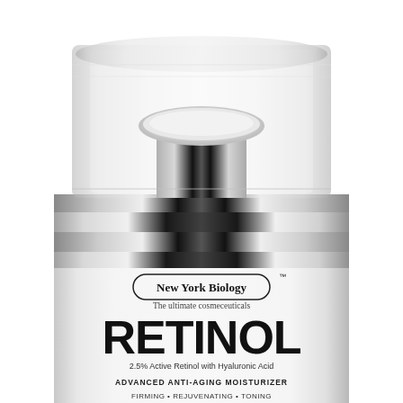[Figure (photo): Close-up product photo of a New York Biology Retinol cream pump bottle. The bottle has a transparent plastic/acrylic pump top mechanism with chrome/silver metallic accents, a white pump head, and a white cylindrical body. The label reads: 'New York Biology™ — The ultimate cosmeceuticals — RETINOL — 2.5% Active Retinol with Hyaluronic Acid — ADVANCED ANTI-AGING MOISTURIZER — FIRMING • REJUVENATING • TONING'. The image is cropped showing the top half of the bottle against a white background.]